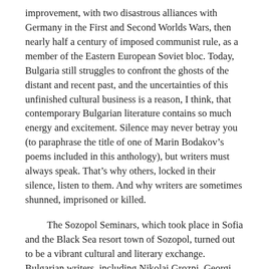improvement, with two disastrous alliances with Germany in the First and Second Worlds Wars, then nearly half a century of imposed communist rule, as a member of the Eastern European Soviet bloc. Today, Bulgaria still struggles to confront the ghosts of the distant and recent past, and the uncertainties of this unfinished cultural business is a reason, I think, that contemporary Bulgarian literature contains so much energy and excitement. Silence may never betray you (to paraphrase the title of one of Marin Bodakov’s poems included in this anthology), but writers must always speak. That’s why others, locked in their silence, listen to them. And why writers are sometimes shunned, imprisoned or killed.
The Sozopol Seminars, which took place in Sofia and the Black Sea resort town of Sozopol, turned out to be a vibrant cultural and literary exchange. Bulgarian writers, including Nikolai Grozni, Georgi Gospodinov (whose novels I’d recently read and admired), and poet Marin Bodakov, met with visiting writers like